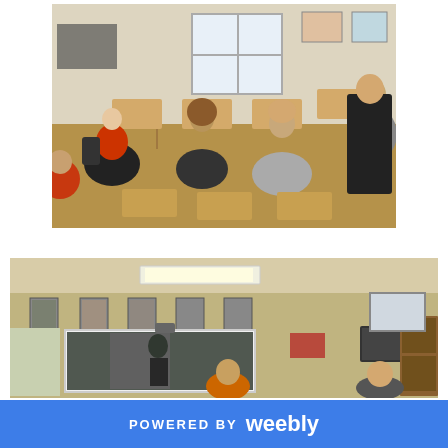[Figure (photo): Classroom photo viewed from behind students seated at desks, all facing forward toward a screen or board at the front of the room. A teacher stands at the right. Various posters and items decorate the walls.]
[Figure (photo): Classroom photo showing the front of the room with a large projected image on a screen/whiteboard. Students are seated and visible from behind. Fluorescent ceiling lights are on. Framed pictures line the wall above the board. A TV monitor is visible on the right side.]
POWERED BY weebly